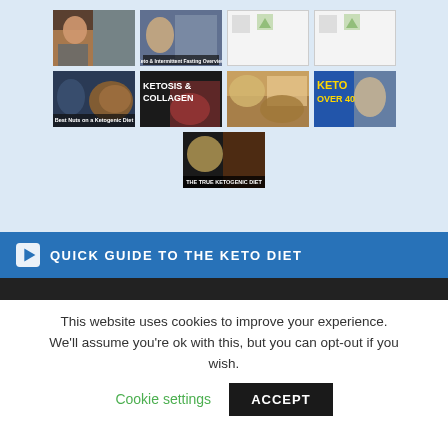[Figure (screenshot): Grid of video thumbnails for keto diet content: row 1 has a shirtless man with food, keto+intermittent fasting overview, and two broken image placeholders; row 2 has best nuts on ketogenic diet, ketosis and collagen, nuts/cheese food photo, keto over 40; row 3 centered has 'The True Ketogenic Diet' thumbnail.]
QUICK GUIDE TO THE KETO DIET
[Figure (screenshot): Dark video preview bar at bottom of blue banner section]
This website uses cookies to improve your experience. We'll assume you're ok with this, but you can opt-out if you wish.
Cookie settings   ACCEPT